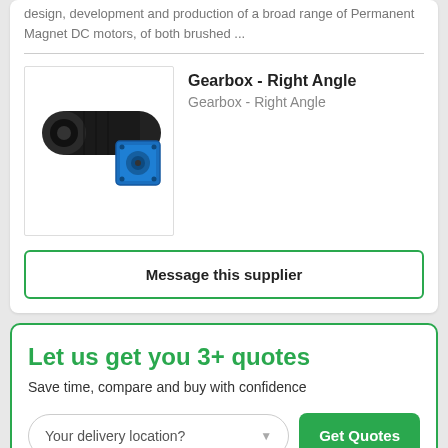design, development and production of a broad range of Permanent Magnet DC motors, of both brushed ...
[Figure (photo): Photo of a right angle gearbox — black cylindrical motor with blue right-angle gearbox housing attached]
Gearbox - Right Angle
Gearbox - Right Angle
Message this supplier
Let us get you 3+ quotes
Save time, compare and buy with confidence
Your delivery location?
Get Quotes